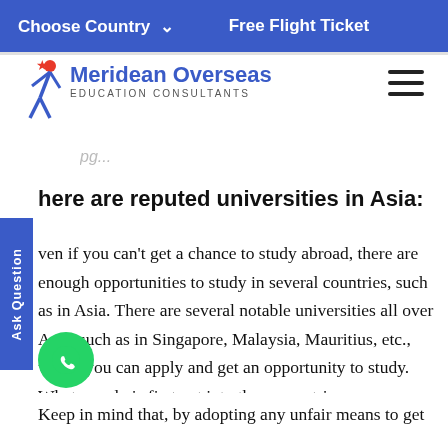Choose Country   Free Flight Ticket
[Figure (logo): Meridean Overseas Education Consultants logo with a blue figure and text]
pg...
here are reputed universities in Asia:
ven if you can't get a chance to study abroad, there are enough opportunities to study in several countries, such as in Asia. There are several notable universities all over Asia, such as in Singapore, Malaysia, Mauritius, etc., where you can apply and get an opportunity to study. What one do is first get into these countries, prepare with some 1-year foundation courses, and then can plan to in the universities abroad.
Keep in mind that, by adopting any unfair means to get